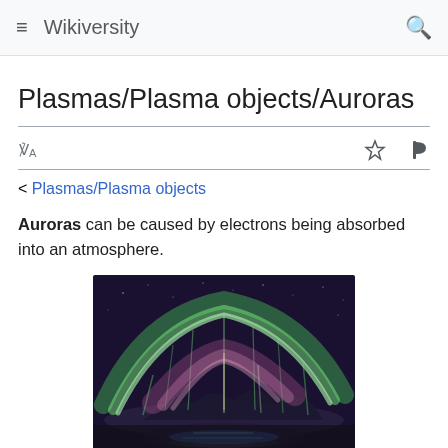Wikiversity
Plasmas/Plasma objects/Auroras
< Plasmas/Plasma objects
Auroras can be caused by electrons being absorbed into an atmosphere.
[Figure (photo): Aurora borealis photograph showing green and purple northern lights over a lake landscape at night.]
This image shows a aurora at night of the